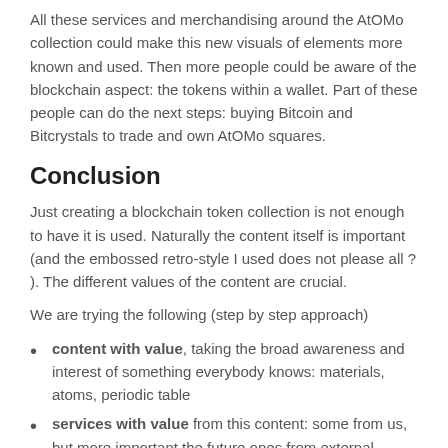All these services and merchandising around the AtOMo collection could make this new visuals of elements more known and used. Then more people could be aware of the blockchain aspect: the tokens within a wallet. Part of these people can do the next steps: buying Bitcoin and Bitcrystals to trade and own AtOMo squares.
Conclusion
Just creating a blockchain token collection is not enough to have it is used. Naturally the content itself is important (and the embossed retro-style I used does not please all ? ). The different values of the content are crucial.
We are trying the following (step by step approach)
content with value, taking the broad awareness and interest of something everybody knows: materials, atoms, periodic table
services with value from this content: some from us, but more important the future ones from external people and third party who will promote their product and sustain the community